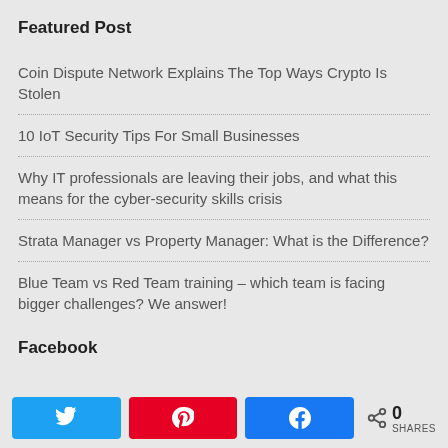Featured Post
Coin Dispute Network Explains The Top Ways Crypto Is Stolen
10 IoT Security Tips For Small Businesses
Why IT professionals are leaving their jobs, and what this means for the cyber-security skills crisis
Strata Manager vs Property Manager: What is the Difference?
Blue Team vs Red Team training – which team is facing bigger challenges? We answer!
Facebook
[Figure (other): Social share buttons: Twitter (blue), Pinterest (red), Facebook (blue), and share count showing 0 SHARES]